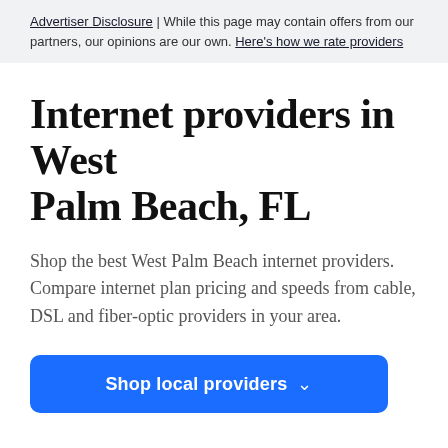Advertiser Disclosure | While this page may contain offers from our partners, our opinions are our own. Here's how we rate providers
Internet providers in West Palm Beach, FL
Shop the best West Palm Beach internet providers. Compare internet plan pricing and speeds from cable, DSL and fiber-optic providers in your area.
Shop local providers ∨